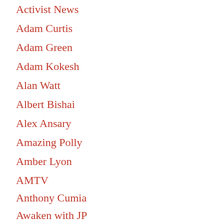Activist News
Adam Curtis
Adam Green
Adam Kokesh
Alan Watt
Albert Bishai
Alex Ansary
Amazing Polly
Amber Lyon
AMTV
Anthony Cumia
Awaken with JP